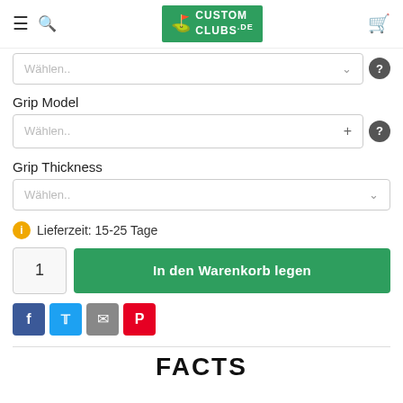Custom Clubs .de
Wählen.. (dropdown)
Grip Model
Wählen.. (dropdown with +)
Grip Thickness
Wählen.. (dropdown)
Lieferzeit: 15-25 Tage
1  In den Warenkorb legen
[Figure (other): Social share buttons: Facebook, Twitter, Email, Pinterest]
FACTS